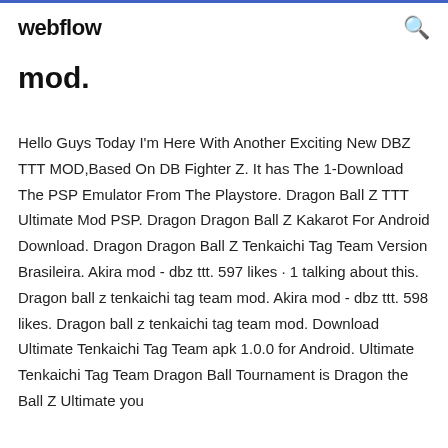webflow
mod.
Hello Guys Today I'm Here With Another Exciting New DBZ TTT MOD,Based On DB Fighter Z. It has The 1-Download The PSP Emulator From The Playstore. Dragon Ball Z TTT Ultimate Mod PSP. Dragon Dragon Ball Z Kakarot For Android Download. Dragon Dragon Ball Z Tenkaichi Tag Team Version Brasileira. Akira mod - dbz ttt. 597 likes · 1 talking about this. Dragon ball z tenkaichi tag team mod. Akira mod - dbz ttt. 598 likes. Dragon ball z tenkaichi tag team mod. Download Ultimate Tenkaichi Tag Team apk 1.0.0 for Android. Ultimate Tenkaichi Tag Team Dragon Ball Tournament is Dragon the Ball Z Ultimate you